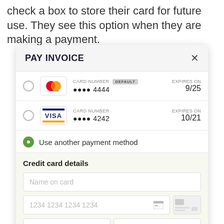check a box to store their card for future use. They see this option when they are making a payment.
[Figure (screenshot): Pay Invoice modal dialog showing two saved cards (Mastercard ending 4444, default, expires 9/25; Visa ending 4242, expires 10/21), a 'Use another payment method' option selected, and a Credit card details form with fields for Name on card, card number (1234 1234 1234 1234), MM/YY, and CVC.]